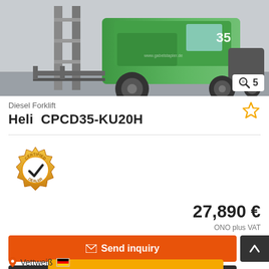[Figure (photo): Green diesel forklift (Heli CPCD35-KU20H) photographed in a warehouse setting. Image counter badge showing magnifying glass icon and number 5 in bottom-right corner.]
Diesel Forklift
Heli  CPCD35-KU20H
[Figure (logo): Certified Dealer badge — gold/orange gear shape with checkmark and text 'CERTIFIED DEALER']
27,890 €
ONO plus VAT
✉ Send inquiry
✆ Call
➤ Save search query
Vettweiß 🇩🇪